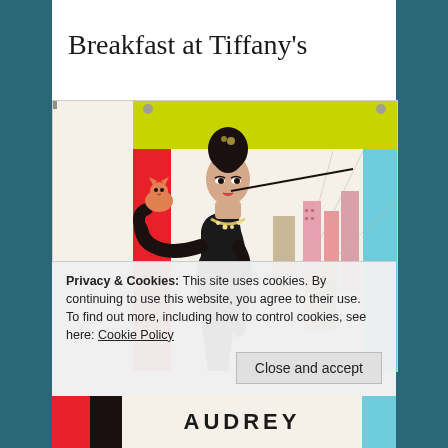Breakfast at Tiffany's
[Figure (illustration): Movie poster for Breakfast at Tiffany's showing Audrey Hepburn in a black dress with long black gloves, holding a cigarette holder, with a cat, against a colorful geometric background with a couple embracing in the background]
Privacy & Cookies: This site uses cookies. By continuing to use this website, you agree to their use.
To find out more, including how to control cookies, see here: Cookie Policy
Close and accept
AUDREY